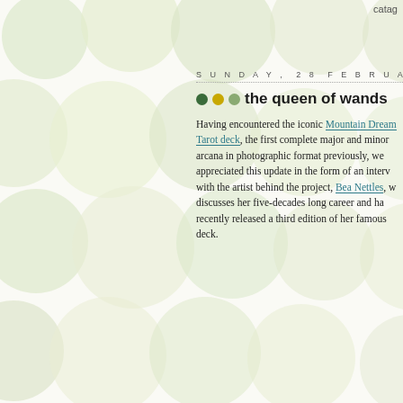catag
SUNDAY, 28 FEBRUARY 2021
the queen of wands
Having encountered the iconic Mountain Dream Tarot deck, the first complete major and minor arcana in photographic format previously, we appreciated this update in the form of an interview with the artist behind the project, Bea Nettles, who discusses her five-decades long career and has recently released a third edition of her famous deck.
[Figure (illustration): A tarot card frame with Art Nouveau style arch and decorative elements at corners, shown as an outline/border only]
We have it much as intuitive digital ca here's a scalable suites sourced fro Waite style. Do sh so inspired, and fi link above.